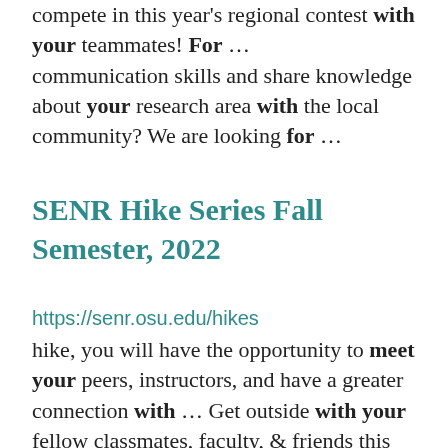compete in this year's regional contest with your teammates! For … communication skills and share knowledge about your research area with the local community? We are looking for …
SENR Hike Series Fall Semester, 2022
https://senr.osu.edu/hikes
hike, you will have the opportunity to meet your peers, instructors, and have a greater connection with … Get outside with your fellow classmates, faculty, & friends this fall! SENR Peer-Mentors … through the